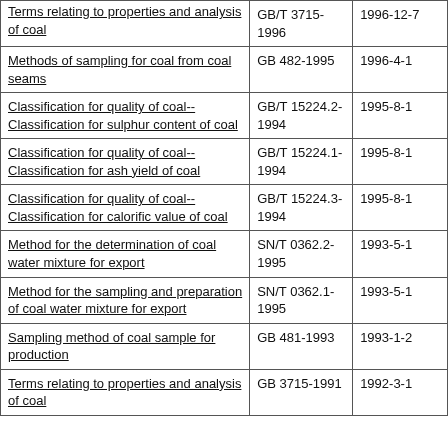| Terms relating to properties and analysis of coal | GB/T 3715-1996 | 1996-12-7 |
| Methods of sampling for coal from coal seams | GB 482-1995 | 1996-4-1 |
| Classification for quality of coal-- Classification for sulphur content of coal | GB/T 15224.2-1994 | 1995-8-1 |
| Classification for quality of coal-- Classification for ash yield of coal | GB/T 15224.1-1994 | 1995-8-1 |
| Classification for quality of coal-- Classification for calorific value of coal | GB/T 15224.3-1994 | 1995-8-1 |
| Method for the determination of coal water mixture for export | SN/T 0362.2-1995 | 1993-5-1 |
| Method for the sampling and preparation of coal water mixture for export | SN/T 0362.1-1995 | 1993-5-1 |
| Sampling method of coal sample for production | GB 481-1993 | 1993-1-2 |
| Terms relating to properties and analysis of coal | GB 3715-1991 | 1992-3-1 |